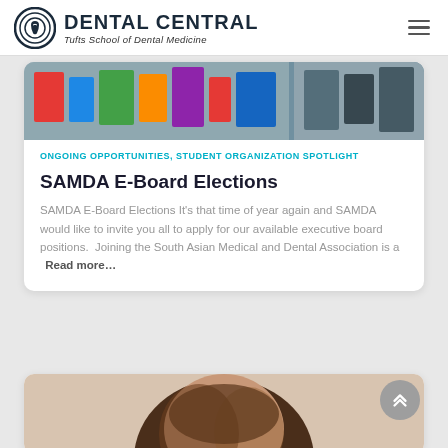[Figure (logo): Dental Central logo with circular tooth icon and text 'DENTAL CENTRAL / Tufts School of Dental Medicine']
[Figure (photo): Partial photo of people at an event, clothing visible, banner/flags in background]
ONGOING OPPORTUNITIES, STUDENT ORGANIZATION SPOTLIGHT
SAMDA E-Board Elections
SAMDA E-Board Elections It's that time of year again and SAMDA would like to invite you all to apply for our available executive board positions.  Joining the South Asian Medical and Dental Association is a  Read more...
[Figure (photo): Partial photo of a person (woman with brown hair), head/upper body visible at bottom of page]